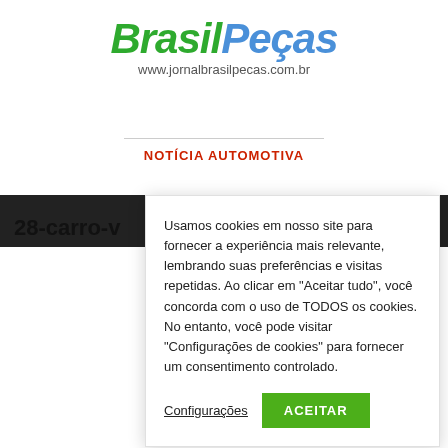[Figure (logo): Brasil Peças logo with italic green 'Brasil' and blue 'Peças' text, URL www.jornalbrasilpecas.com.br below]
NOTÍCIA AUTOMOTIVA
28-carro-v
Usamos cookies em nosso site para fornecer a experiência mais relevante, lembrando suas preferências e visitas repetidas. Ao clicar em "Aceitar tudo", você concorda com o uso de TODOS os cookies. No entanto, você pode visitar "Configurações de cookies" para fornecer um consentimento controlado.
Configurações   ACEITAR